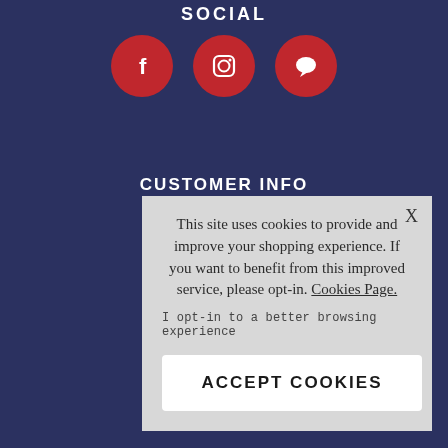SOCIAL
[Figure (illustration): Three red circular social media icons: Facebook (f), Instagram (camera), and a chat/message bubble icon]
CUSTOMER INFO
FAQ's
Cookie Policy
This site uses cookies to provide and improve your shopping experience. If you want to benefit from this improved service, please opt-in. Cookies Page.
I opt-in to a better browsing experience
ACCEPT COOKIES